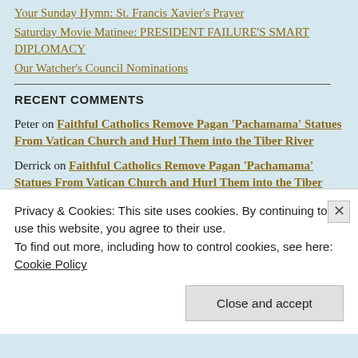Your Sunday Hymn: St. Francis Xavier's Prayer
Saturday Movie Matinee: PRESIDENT FAILURE'S SMART DIPLOMACY
Our Watcher's Council Nominations
RECENT COMMENTS
Peter on Faithful Catholics Remove Pagan 'Pachamama' Statues From Vatican Church and Hurl Them into the Tiber River
Derrick on Faithful Catholics Remove Pagan 'Pachamama' Statues From Vatican Church and Hurl Them into the Tiber River
Saudi Arabia and UAE Decline to Pump More Oil For U.S., Won't Take Biden's Calls – LibertyWire on The Curious Case of Obama's Cancelled State Dinner In Saudi Arabia
Privacy & Cookies: This site uses cookies. By continuing to use this website, you agree to their use.
To find out more, including how to control cookies, see here: Cookie Policy
Close and accept